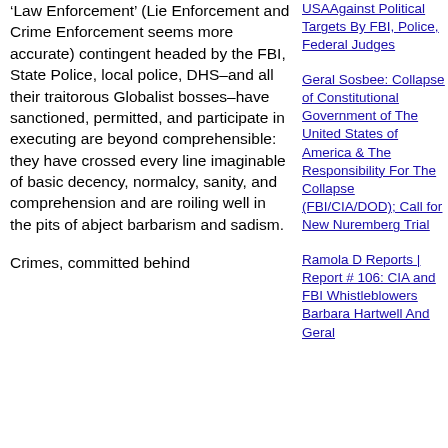'Law Enforcement' (Lie Enforcement and Crime Enforcement seems more accurate) contingent headed by the FBI, State Police, local police, DHS–and all their traitorous Globalist bosses–have sanctioned, permitted, and participate in executing are beyond comprehensible: they have crossed every line imaginable of basic decency, normalcy, sanity, and comprehension and are roiling well in the pits of abject barbarism and sadism.
Crimes, committed behind
USAAgainst Political Targets By FBI, Police, Federal Judges
Geral Sosbee: Collapse of Constitutional Government of The United States of America & The Responsibility For The Collapse (FBI/CIA/DOD); Call for New Nuremberg Trial
Ramola D Reports | Report # 106: CIA and FBI Whistleblowers Barbara Hartwell And Geral
and Clandestine CIA Destroying Govts, National Sovereignty Worldwide Being Routed Out | Gold Trades Have Funded CIA Black Ops & Purchase of Chinese Central Bank from CCP
Let Freedom Ring!